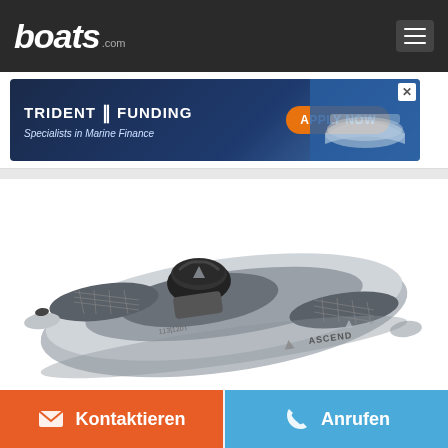boats.com
[Figure (screenshot): Trident Funding advertisement banner - Specialists in Marine Finance with Apply Now button]
[Figure (photo): Ascend brand sit-on-top kayak in grey/white color, viewed from above at an angle, showing storage areas with mesh covers, a black dry bag, and Ascend logo on hull]
Kontaktieren
Anrufen